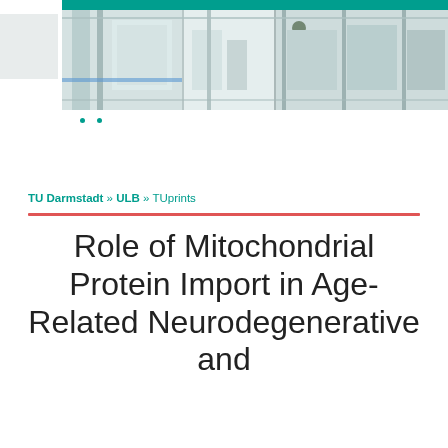[Figure (photo): TU Darmstadt university building interior/exterior photograph used as a header banner, showing architectural spaces with a person in a green jacket walking.]
TU Darmstadt » ULB » TUprints
Role of Mitochondrial Protein Import in Age-Related Neurodegenerative and